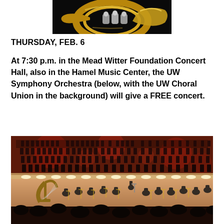[Figure (photo): Close-up photo of a French horn, gold brass instrument against dark background]
THURSDAY, FEB. 6
At 7:30 p.m. in the Mead Witter Foundation Concert Hall, also in the Hamel Music Center, the UW Symphony Orchestra (below, with the UW Choral Union in the background) will give a FREE concert.
[Figure (photo): Photo of the UW Symphony Orchestra performing on stage with the UW Choral Union visible in tiered risers in the background, inside a concert hall with warm reddish lighting and audience members visible in the foreground]